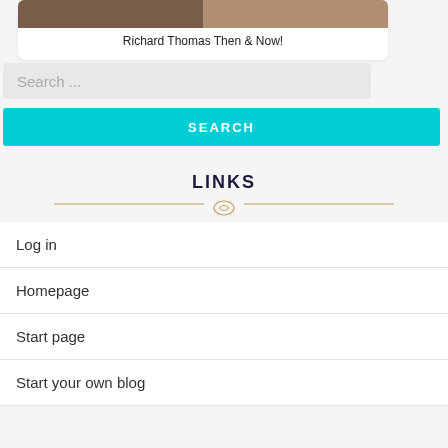[Figure (photo): Photo of Richard Thomas then and now, two side-by-side images]
Richard Thomas Then & Now!
Search ...
SEARCH
LINKS
Log in
Homepage
Start page
Start your own blog